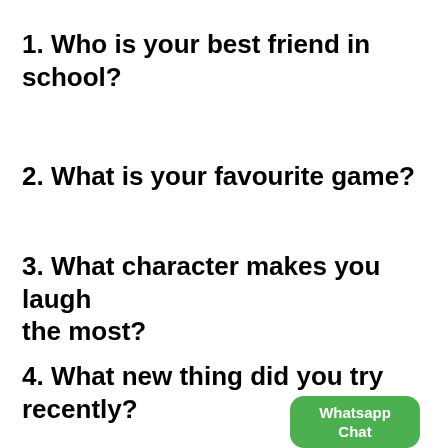1. Who is your best friend in school?
2. What is your favourite game?
3. What character makes you laugh the most?
4. What new thing did you try recently?
[Figure (other): Green rounded rectangle button with white text reading 'Whatsapp Chat']